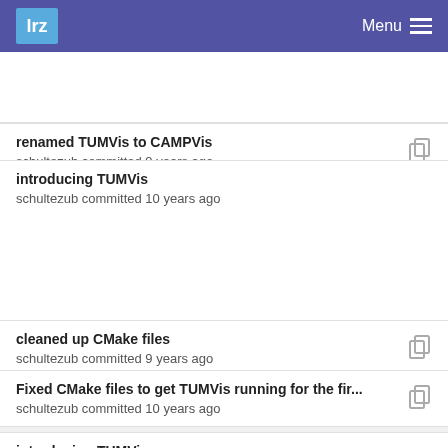lrz  Menu
renamed TUMVis to CAMPVis
schultezub committed 9 years ago
introducing TUMVis
schultezub committed 10 years ago
cleaned up CMake files
schultezub committed 9 years ago
Fixed CMake files to get TUMVis running for the fir...
schultezub committed 10 years ago
introducing TUMVis